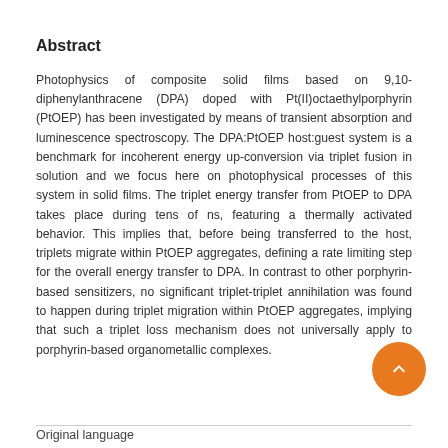Abstract
Photophysics of composite solid films based on 9,10-diphenylanthracene (DPA) doped with Pt(II)octaethylporphyrin (PtOEP) has been investigated by means of transient absorption and luminescence spectroscopy. The DPA:PtOEP host:guest system is a benchmark for incoherent energy up-conversion via triplet fusion in solution and we focus here on photophysical processes of this system in solid films. The triplet energy transfer from PtOEP to DPA takes place during tens of ns, featuring a thermally activated behavior. This implies that, before being transferred to the host, triplets migrate within PtOEP aggregates, defining a rate limiting step for the overall energy transfer to DPA. In contrast to other porphyrin-based sensitizers, no significant triplet-triplet annihilation was found to happen during triplet migration within PtOEP aggregates, implying that such a triplet loss mechanism does not universally apply to porphyrin-based organometallic complexes.
Original language